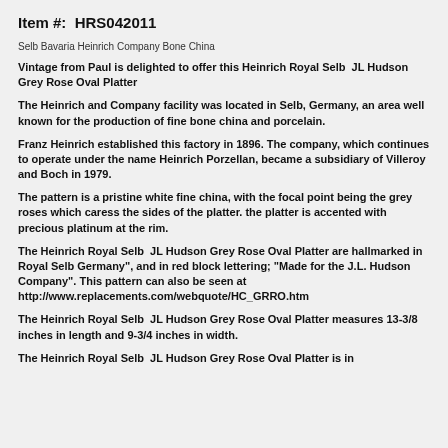Item #:  HRS042011
Selb Bavaria Heinrich Company Bone China
Vintage from Paul is delighted to offer this Heinrich Royal Selb  JL Hudson Grey Rose Oval Platter
The Heinrich and Company facility was located in Selb, Germany, an area well known for the production of fine bone china and porcelain.
Franz Heinrich established this factory in 1896. The company, which continues to operate under the name Heinrich Porzellan, became a subsidiary of Villeroy and Boch in 1979.
The pattern is a pristine white fine china, with the focal point being the grey roses which caress the sides of the platter. the platter is accented with precious platinum at the rim.
The Heinrich Royal Selb  JL Hudson Grey Rose Oval Platter are hallmarked in Royal Selb Germany", and in red block lettering; "Made for the J.L. Hudson Company". This pattern can also be seen at http://www.replacements.com/webquote/HC_GRRO.htm
The Heinrich Royal Selb  JL Hudson Grey Rose Oval Platter measures 13-3/8 inches in length and 9-3/4 inches in width.
The Heinrich Royal Selb  JL Hudson Grey Rose Oval Platter is in